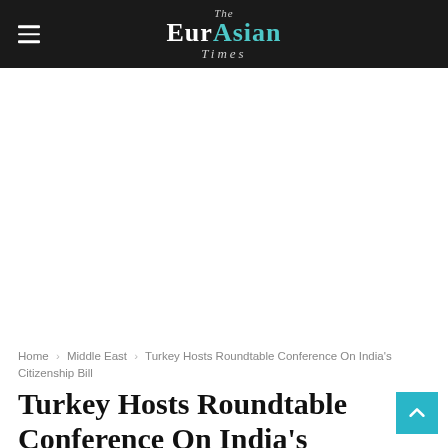The EurAsian Times
Home › Middle East › Turkey Hosts Roundtable Conference On India's Citizenship Bill
Turkey Hosts Roundtable Conference On India's